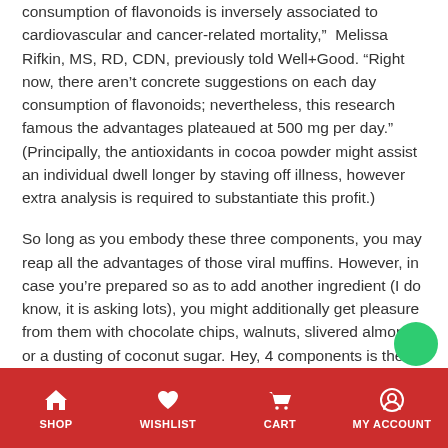consumption of flavonoids is inversely associated to cardiovascular and cancer-related mortality," Melissa Rifkin, MS, RD, CDN, previously told Well+Good. "Right now, there aren't concrete suggestions on each day consumption of flavonoids; nevertheless, this research famous the advantages plateaued at 500 mg per day." (Principally, the antioxidants in cocoa powder might assist an individual dwell longer by staving off illness, however extra analysis is required to substantiate this profit.)
So long as you embody these three components, you may reap all the advantages of those viral muffins. However, in case you're prepared so as to add another ingredient (I do know, it is asking lots), you might additionally get pleasure from them with chocolate chips, walnuts, slivered almonds, or a dusting of coconut sugar. Hey, 4 components is the second-best factor to 3.
Need extra muffins? Do this morning glory muffin recipe:
SHOP  WISHLIST  CART  MY ACCOUNT